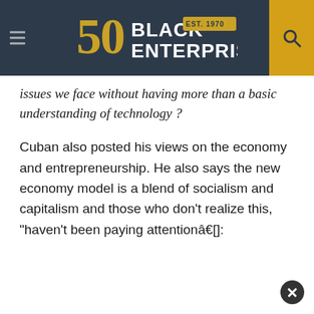[Figure (logo): Black Enterprise logo with '50 EST. 1970' gold text on dark navy header bar, with hamburger menu on left and search icon on gold background on right]
issues we face without having more than a basic understanding of technology ?
Cuban also posted his views on the economy and entrepreneurship. He also says the new economy model is a blend of socialism and capitalism and those who don't realize this, "haven't been paying attentionâ€":